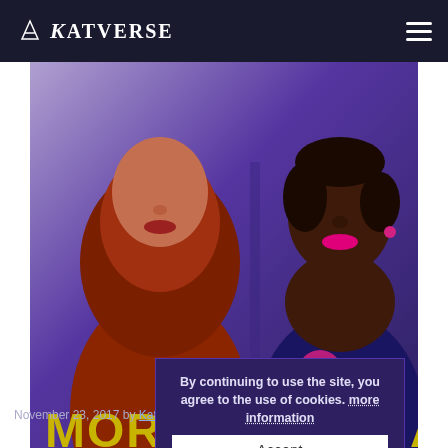KATVERSE
[Figure (illustration): Hero image showing two Sims 4 characters (Morgan and Siobhan Fyres) from shoulders up. Left character wears a red-brown hijab/scarf, right character has dark skin with magenta lips and earrings, wearing a dark floral dress. Yellow bold text reads 'MORGAN' and 'SIOBHA' (partly cut off, full: SIOBHAN) at the bottom of the image. Background is purple/blue.]
The Sims 4 | Townie Makeover | Siobhan and Morgan Fyres
November 23, 2017 by Katverse
By continuing to use the site, you agree to the use of cookies. more information
Accept